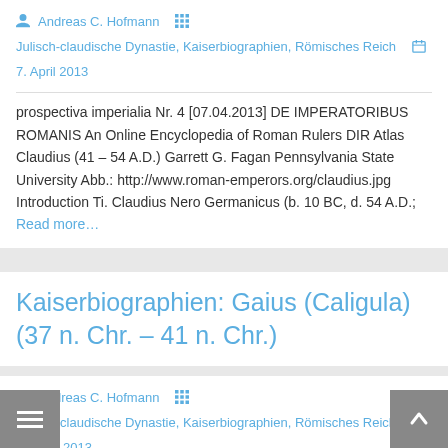Andreas C. Hofmann  Julisch-claudische Dynastie, Kaiserbiographien, Römisches Reich  7. April 2013
prospectiva imperialia Nr. 4 [07.04.2013] DE IMPERATORIBUS ROMANIS An Online Encyclopedia of Roman Rulers DIR Atlas Claudius (41 – 54 A.D.) Garrett G. Fagan Pennsylvania State University Abb.: http://www.roman-emperors.org/claudius.jpg Introduction Ti. Claudius Nero Germanicus (b. 10 BC, d. 54 A.D.; Read more…
Kaiserbiographien: Gaius (Caligula) (37 n. Chr. – 41 n. Chr.)
Andreas C. Hofmann  Julisch-claudische Dynastie, Kaiserbiographien, Römisches Reich  2. März 2013